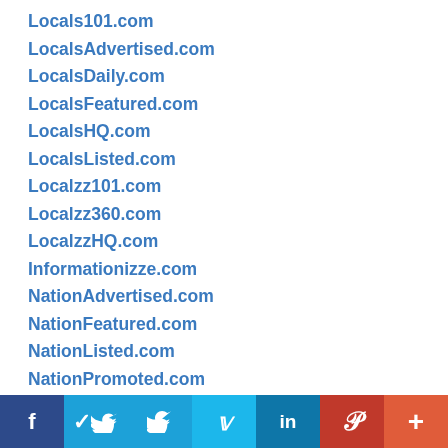Locals101.com
LocalsAdvertised.com
LocalsDaily.com
LocalsFeatured.com
LocalsHQ.com
LocalsListed.com
Localzz101.com
Localzz360.com
LocalzzHQ.com
Informationizze.com
NationAdvertised.com
NationFeatured.com
NationListed.com
NationPromoted.com
Northland101.com
NorthlandFeatured.com
f  Twitter  in  Pinterest  +